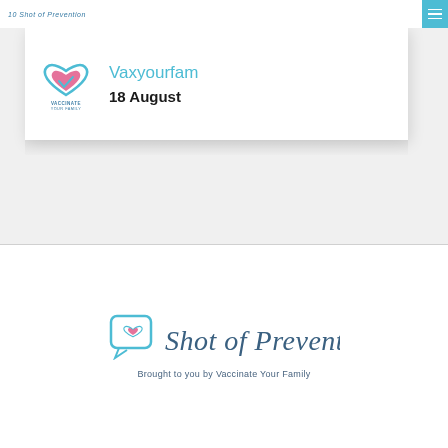Shot of Prevention
[Figure (logo): Vaccinate Your Family logo with heart icon and text, showing Vaxyourfam and date 18 August]
Vaxyourfam
18 August
[Figure (logo): Shot of Prevention logo with speech bubble heart icon and cursive text, Brought to you by Vaccinate Your Family]